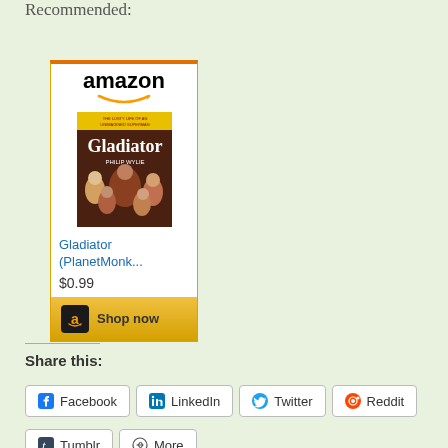Recommended:
[Figure (other): Amazon product card showing the book 'Gladiator (PlanetMonk...)' priced at $0.99 with a 'Shop now' button]
Share this:
Facebook
LinkedIn
Twitter
Reddit
Tumblr
More